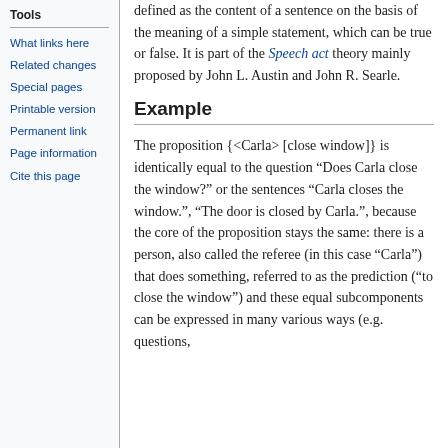Tools
What links here
Related changes
Special pages
Printable version
Permanent link
Page information
Cite this page
defined as the content of a sentence on the basis of the meaning of a simple statement, which can be true or false. It is part of the Speech act theory mainly proposed by John L. Austin and John R. Searle.
Example
The proposition {<Carla> [close window]} is identically equal to the question “Does Carla close the window?” or the sentences “Carla closes the window.”, “The door is closed by Carla.”, because the core of the proposition stays the same: there is a person, also called the referee (in this case “Carla”) that does something, referred to as the prediction (“to close the window”) and these equal subcomponents can be expressed in many various ways (e.g. questions,